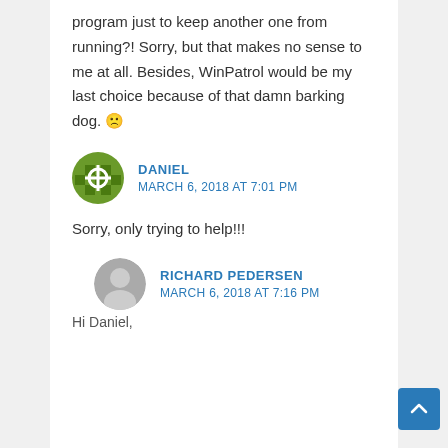Why should a person have to install one program just to keep another one from running?! Sorry, but that makes no sense to me at all. Besides, WinPatrol would be my last choice because of that damn barking dog. 🙁
DANIEL
MARCH 6, 2018 AT 7:01 PM
Sorry, only trying to help!!!
RICHARD PEDERSEN
MARCH 6, 2018 AT 7:16 PM
Hi Daniel,